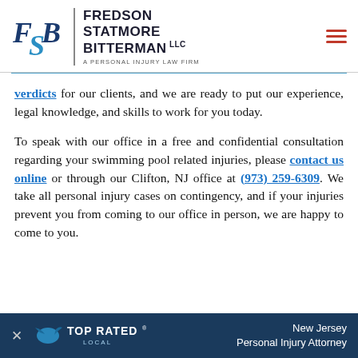[Figure (logo): FSB Fredson Statmore Bitterman LLC law firm logo with blue FSB letters and firm name]
verdicts for our clients, and we are ready to put our experience, legal knowledge, and skills to work for you today.
To speak with our office in a free and confidential consultation regarding your swimming pool related injuries, please contact us online or through our Clifton, NJ office at (973) 259-6309. We take all personal injury cases on contingency, and if your injuries prevent you from coming to our office in person, we are happy to come to you.
[Figure (logo): Top Rated Local badge with New Jersey Personal Injury Attorney text on dark blue banner]